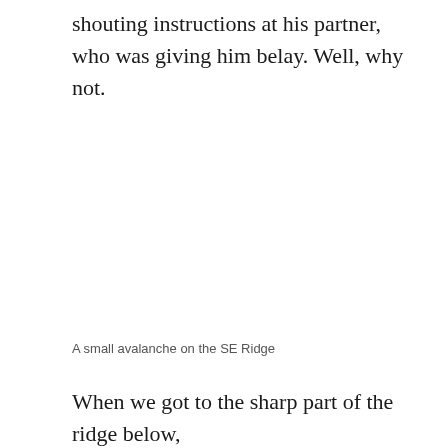shouting instructions at his partner, who was giving him belay. Well, why not.
A small avalanche on the SE Ridge
When we got to the sharp part of the ridge below,